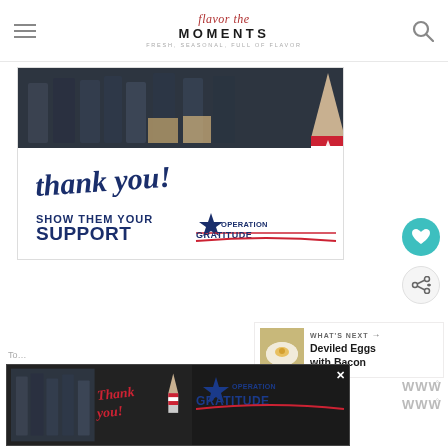Flavor the Moments — FRESH, SEASONAL, FULL OF FLAVOR
[Figure (photo): Operation Gratitude promotional banner showing firefighters/military personnel with boxes, handwritten 'thank you!' text, a patriotic pencil graphic, and 'SHOW THEM YOUR SUPPORT OPERATION GRATITUDE' text on white background]
[Figure (photo): Small thumbnail image of deviled eggs with bacon for 'What's Next' section]
WHAT'S NEXT → Deviled Eggs with Bacon
[Figure (photo): Bottom advertisement banner — smaller version of Operation Gratitude thank you ad with firefighters photo and Operation Gratitude logo on dark background, with close X button]